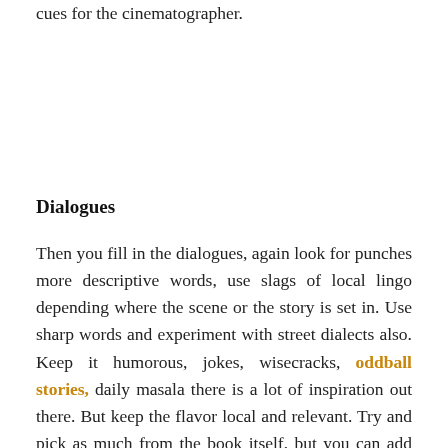cues for the cinematographer.
Dialogues
Then you fill in the dialogues, again look for punches more descriptive words, use slags of local lingo depending where the scene or the story is set in. Use sharp words and experiment with street dialects also. Keep it humorous, jokes, wisecracks, oddball stories, daily masala there is a lot of inspiration out there. But keep the flavor local and relevant. Try and pick as much from the book itself, but you can add some of your own jokes and anecdotes. The scene does not eit